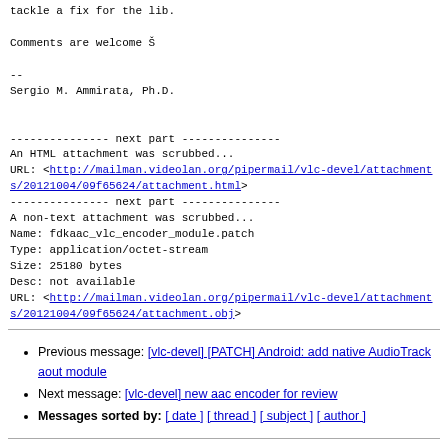tackle a fix for the lib.

Comments are welcome Š

--
Sergio M. Ammirata, Ph.D.
--------------- next part ---------------
An HTML attachment was scrubbed...
URL: <http://mailman.videolan.org/pipermail/vlc-devel/attachments/20121004/09f65624/attachment.html>
--------------- next part ---------------
A non-text attachment was scrubbed...
Name: fdkaac_vlc_encoder_module.patch
Type: application/octet-stream
Size: 25180 bytes
Desc: not available
URL: <http://mailman.videolan.org/pipermail/vlc-devel/attachments/20121004/09f65624/attachment.obj>
Previous message: [vlc-devel] [PATCH] Android: add native AudioTrack aout module
Next message: [vlc-devel] new aac encoder for review
Messages sorted by: [ date ] [ thread ] [ subject ] [ author ]
More information about the vlc-devel mailing list